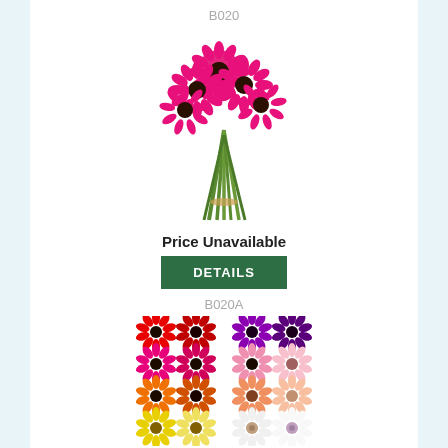B020
[Figure (photo): A bunch of pink/hot-pink gerbera daisies with green stems tied together]
Price Unavailable
DETAILS
B020A
[Figure (photo): A 4x4 grid of individual gerbera daisy flower heads in various colors: red, dark red, purple, dark purple, hot pink, magenta, light pink, pale pink, orange, dark orange, peach, light peach, yellow, pale yellow, white, white with pink tips]